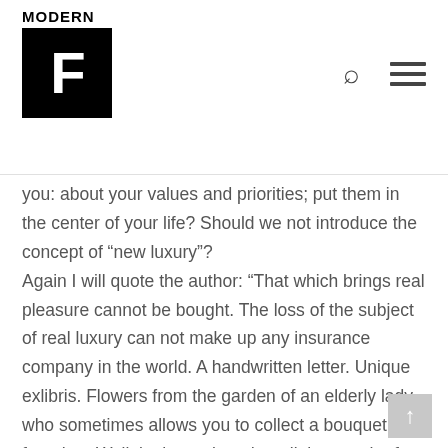MODERN F
you: about your values and priorities; put them in the center of your life? Should we not introduce the concept of “new luxury”?
Again I will quote the author: “That which brings real pleasure cannot be bought. The loss of the subject of real luxury can not make up any insurance company in the world. A handwritten letter. Unique exlibris. Flowers from the garden of an elderly lady, who sometimes allows you to collect a bouquet from her. Walk in the park under a light crunch of snow. Swimming in the lake on a hot summer day … Luxury, as he writes … Karl Laslov, in his book “Appeal to luxury,” is “possessing what one wants to have, and giving up what one needs to have.”